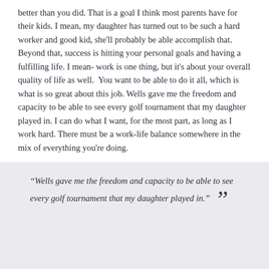better than you did. That is a goal I think most parents have for their kids. I mean, my daughter has turned out to be such a hard worker and good kid, she'll probably be able accomplish that. Beyond that, success is hitting your personal goals and having a fulfilling life. I mean- work is one thing, but it's about your overall quality of life as well.  You want to be able to do it all, which is what is so great about this job. Wells gave me the freedom and capacity to be able to see every golf tournament that my daughter played in. I can do what I want, for the most part, as long as I work hard. There must be a work-life balance somewhere in the mix of everything you're doing.
“Wells gave me the freedom and capacity to be able to see every golf tournament that my daughter played in.”